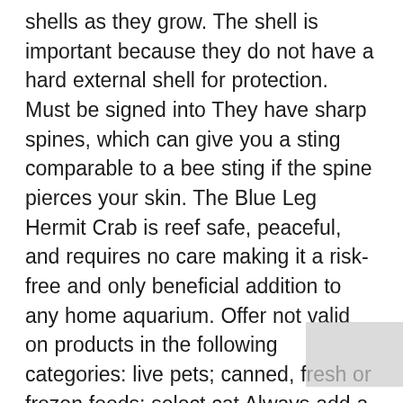shells as they grow. The shell is important because they do not have a hard external shell for protection. Must be signed into They have sharp spines, which can give you a sting comparable to a bee sting if the spine pierces your skin. The Blue Leg Hermit Crab is reef safe, peaceful, and requires no care making it a risk-free and only beneficial addition to any home aquarium. Offer not valid on products in the following categories: live pets; canned, fresh or frozen foods; select cat Always add a dechlorinator or water conditioner to tap water before putting it in your crab's water dish. value $75. If you use an under-tank heater, cover it with at least an inch of bedding, so your crabs don't get uncomfortably hot. Both claws of the Dwarf Blue Leg Hermit Crab are of equal size and therefore, members of this genus are sometimes called "Equal-handed Hermit Crabs." From special housing to food and supplies, check out our hermit crab care sheet for more info. Grows to 3''. For online sales, there is a limited